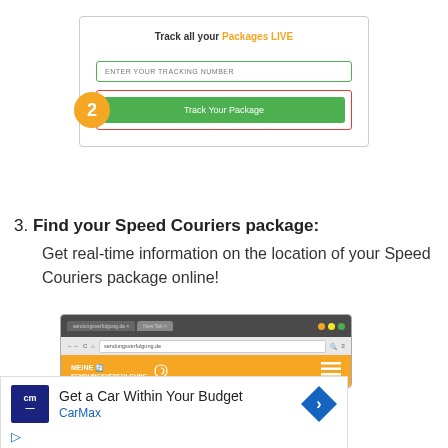[Figure (screenshot): Screenshot of a package tracking web interface. Shows 'Track all your Packages LIVE' heading, an input field for tracking number, and a green 'Track Your Package' button with an orange badge showing '2' on the left side.]
3. Find your Speed Couriers package: Get real-time information on the location of your Speed Couriers package online!
[Figure (screenshot): Browser screenshot showing a website with dark tab bar, navigation bar, and orange branded header area with 'MEINE SENDUNGSVERFOLGUNG' text and logo.]
[Figure (screenshot): Advertisement area showing CarMax ad: 'Get a Car Within Your Budget' with CarMax logo and blue arrow icon, plus play and X icons at bottom left.]